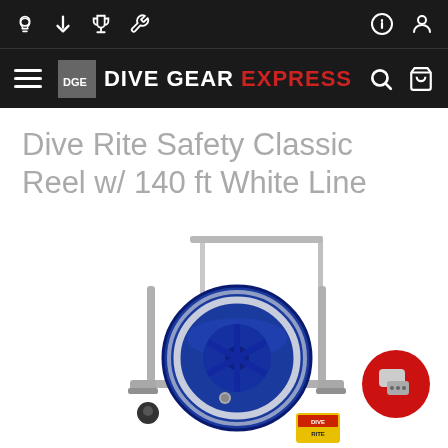Dive Gear Express website header with navigation icons and logo
Dive Rite Safety Classic Reel w/ 140 ft White Line
[Figure (photo): Photo of a Dive Rite Safety Classic Reel with blue spool and white line, mounted in a silver metal frame with a handle, shown on a white background. Dive Rite logo visible on the bottom right of the reel.]